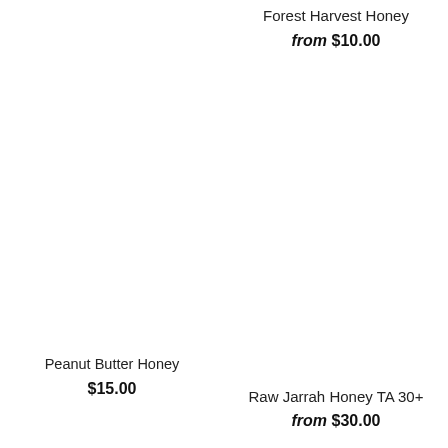Forest Harvest Honey
from $10.00
Peanut Butter Honey
$15.00
Raw Jarrah Honey TA 30+
from $30.00